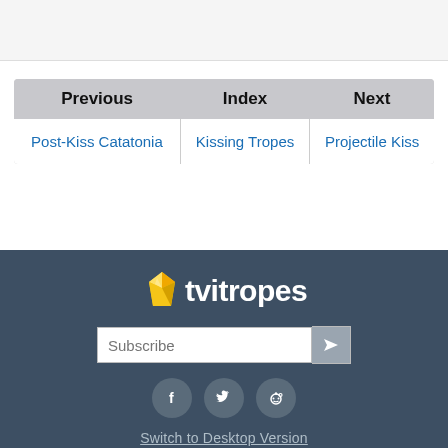| Previous | Index | Next |
| --- | --- | --- |
| Post-Kiss Catatonia | Kissing Tropes | Projectile Kiss |
[Figure (logo): TV Tropes logo: yellow gem icon followed by 'tvitropes' in white bold text on dark blue-grey footer background]
Subscribe
[Figure (infographic): Social media icons: Facebook, Twitter, Reddit — circular grey buttons]
Switch to Desktop Version